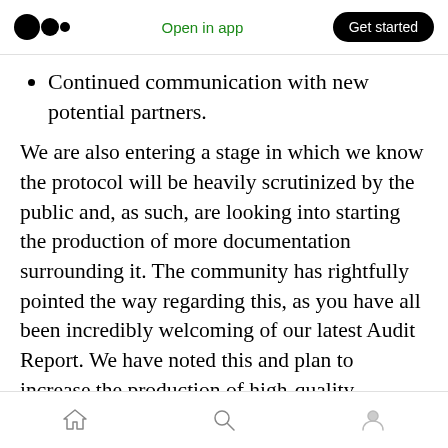Medium app header — Open in app | Get started
Continued communication with new potential partners.
We are also entering a stage in which we know the protocol will be heavily scrutinized by the public and, as such, are looking into starting the production of more documentation surrounding it. The community has rightfully pointed the way regarding this, as you have all been incredibly welcoming of our latest Audit Report. We have noted this and plan to increase the production of high-quality information with insights on
Bottom navigation bar with home, search, and profile icons